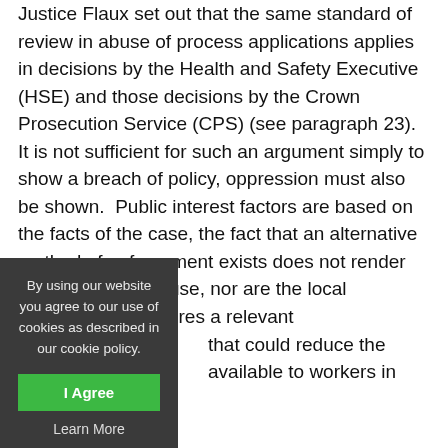Justice Flaux set out that the same standard of review in abuse of process applications applies in decisions by the Health and Safety Executive (HSE) and those decisions by the Crown Prosecution Service (CPS) (see paragraph 23).  It is not sufficient for such an argument simply to show a breach of policy, oppression must also be shown.  Public interest factors are based on the facts of the case, the fact that an alternative method of enforcement exists does not render prosecution an abuse, nor are the local unemployment figures a relevant ... that could reduce the ... available to workers in such ...
By using our website you agree to our use of cookies as described in our cookie policy.
...st operating a rip saw in the new ...piece of wood impaled the right ...Daley.  He had not lowered the ...d the stand provided to catch off...